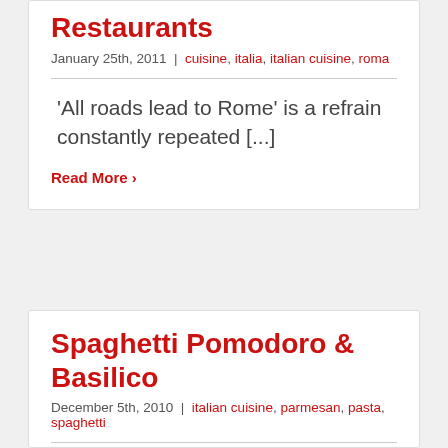Restaurants
January 25th, 2011  |  cuisine, italia, italian cuisine, roma
'All roads lead to Rome' is a refrain constantly repeated [...]
Read More ›
Spaghetti Pomodoro & Basilico
December 5th, 2010  |  italian cuisine, parmesan, pasta, spaghetti
Pomodoro & Basilico: Di Cacao Spaghetti, olive...